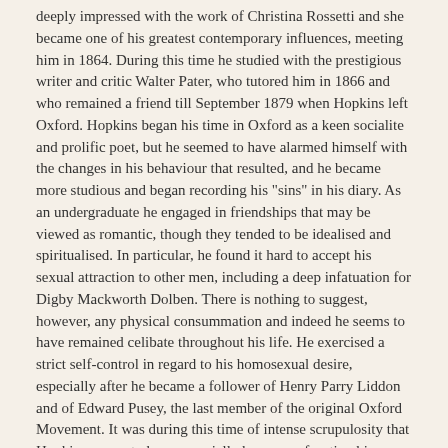deeply impressed with the work of Christina Rossetti and she became one of his greatest contemporary influences, meeting him in 1864. During this time he studied with the prestigious writer and critic Walter Pater, who tutored him in 1866 and who remained a friend till September 1879 when Hopkins left Oxford. Hopkins began his time in Oxford as a keen socialite and prolific poet, but he seemed to have alarmed himself with the changes in his behaviour that resulted, and he became more studious and began recording his "sins" in his diary. As an undergraduate he engaged in friendships that may be viewed as romantic, though they tended to be idealised and spiritualised. In particular, he found it hard to accept his sexual attraction to other men, including a deep infatuation for Digby Mackworth Dolben. There is nothing to suggest, however, any physical consummation and indeed he seems to have remained celibate throughout his life. He exercised a strict self-control in regard to his homosexual desire, especially after he became a follower of Henry Parry Liddon and of Edward Pusey, the last member of the original Oxford Movement. It was during this time of intense scrupulosity that Hopkins seems to have especially begun confronting his strong homoerotic impulses and began to consider choosing the cloister.
On 18 January 1866 Hopkins composed his most ascetic poem, The Habit of Perfection. On 23 January he included poetry in the list of things to be given up for Lent. In July he decided to become a Catholic, and he traveled to Birmingham in September to consult the leader of the Oxford converts, John Henry Newman. Newman received him into the Church on 21 October 1866. On 5 May 1868 Hopkins firmly "resolved to be a religious." Less than a week later, he made a bonfire of his poems and gave up poetry almost entirely for seven years. The decision to convert estranged him from both